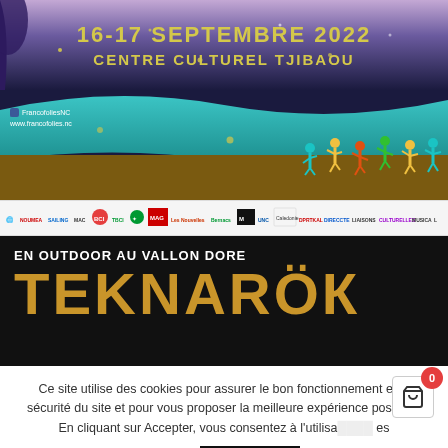[Figure (illustration): Francofolies festival banner: dark blue night sky background with teal wave and dancers silhouettes. Text reads '16-17 SEPTEMBRE 2022 CENTRE CULTUREL TJIBAOU'. Facebook and website info shown bottom left. Sponsor logos bar below.]
[Figure (illustration): Teknarok festival banner: black background with white text 'EN OUTDOOR AU VALLON DORE' and large gold/yellow text 'TEKNAROK'.]
Ce site utilise des cookies pour assurer le bon fonctionnement et la sécurité du site et pour vous proposer la meilleure expérience possible.
En cliquant sur Accepter, vous consentez à l'utilisa... es cookies
Accepter